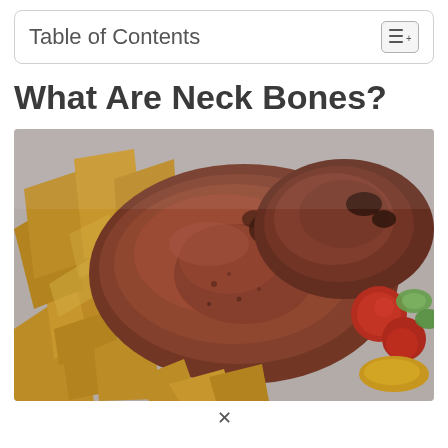Table of Contents
What Are Neck Bones?
[Figure (photo): A close-up photo of cooked neck bones (braised/roasted meat) served on a plate with thick-cut potato wedges, tomatoes, yellow pepper, and cucumber slices.]